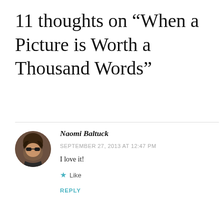11 thoughts on “When a Picture is Worth a Thousand Words”
Naomi Baltuck
SEPTEMBER 27, 2013 AT 12:47 PM
I love it!
Like
REPLY